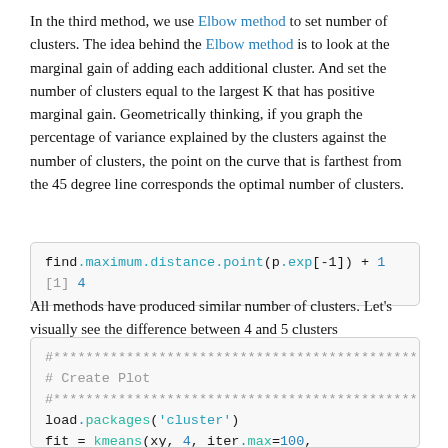In the third method, we use Elbow method to set number of clusters. The idea behind the Elbow method is to look at the marginal gain of adding each additional cluster. And set the number of clusters equal to the largest K that has positive marginal gain. Geometrically thinking, if you graph the percentage of variance explained by the clusters against the number of clusters, the point on the curve that is farthest from the 45 degree line corresponds the optimal number of clusters.
find.maximum.distance.point(p.exp[-1]) + 1
[1] 4
All methods have produced similar number of clusters. Let's visually see the difference between 4 and 5 clusters
#************************************************
# Create Plot
#************************************************
load.packages('cluster')
fit = kmeans(xy, 4, iter.max=100, nstart=100)
clusplot(xy, fit$cluster, color=TRUE, shade=TRUE, .
    main = paste('Major Market Clusters over', dat

fit = kmeans(xy, 5, iter.max=100, nstart=100)
clusplot(xy, fit$cluster, color=TRUE, shade=TRUE, .
    main = paste('Major Market Clusters over', dat